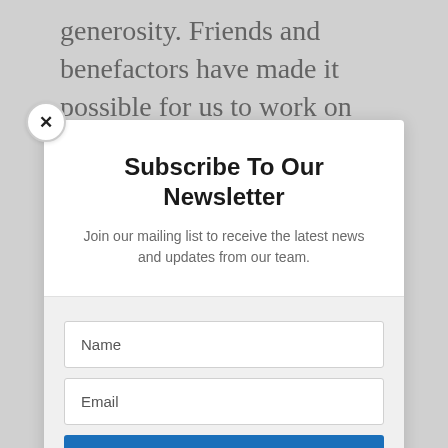generosity. Friends and benefactors have made it possible for us to work on building
Subscribe To Our Newsletter
Join our mailing list to receive the latest news and updates from our team.
Name
Email
SUBSCRIBE